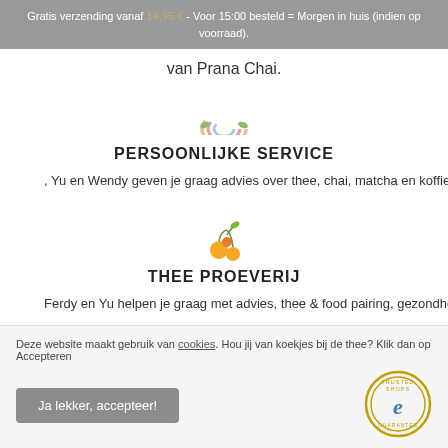Gratis verzending vanaf 14,95 € - Voor 15:00 besteld = Morgen in huis (indien op voorraad).
van Prana Chai.
[Figure (illustration): Rainbow icon illustration]
PERSOONLIJKE SERVICE
Yu en Wendy geven je graag advies over thee, chai, matcha en koffie.
[Figure (illustration): Cherry/fruit icon illustration]
THEE PROEVERIJ
Ferdy en Yu helpen je graag met advies, thee & food pairing, gezondheid
Deze website maakt gebruik van cookies. Hou jij van koekjes bij de thee? Klik dan op Accepteren
Ja lekker, accepteer!
& MEER